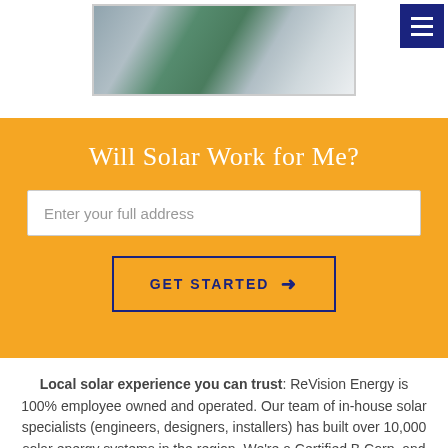[Figure (photo): Aerial/isometric view of a house roof with solar panels, showing gray roof and green vegetation]
Will Solar Work for Me?
Enter your full address
GET STARTED →
Local solar experience you can trust: ReVision Energy is 100% employee owned and operated. Our team of in-house solar specialists (engineers, designers, installers) has built over 10,000 solar energy systems in the region. We're a Certified B Corp, and